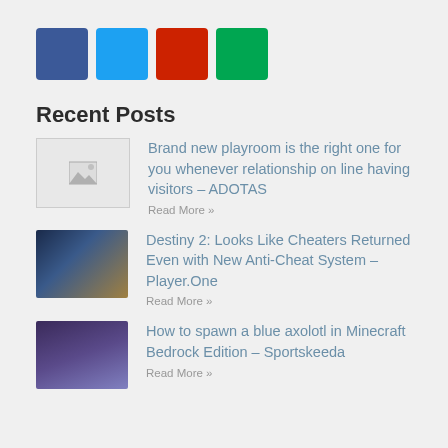[Figure (infographic): Four social media icon color squares: Facebook (dark blue), Twitter (light blue), YouTube/Pinterest (red), Google+/other (green)]
Recent Posts
[Figure (photo): Placeholder thumbnail image for first post]
Brand new playroom is the right one for you whenever relationship on line having visitors – ADOTAS
Read More »
[Figure (photo): Destiny 2 game artwork thumbnail - fantasy warrior characters]
Destiny 2: Looks Like Cheaters Returned Even with New Anti-Cheat System – Player.One
Read More »
[Figure (photo): Minecraft Bedrock Edition screenshot thumbnail - blue axolotl]
How to spawn a blue axolotl in Minecraft Bedrock Edition – Sportskeeda
Read More »